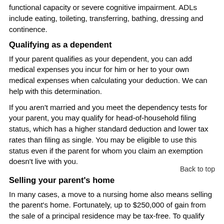functional capacity or severe cognitive impairment. ADLs include eating, toileting, transferring, bathing, dressing and continence.
Qualifying as a dependent
If your parent qualifies as your dependent, you can add medical expenses you incur for him or her to your own medical expenses when calculating your deduction. We can help with this determination.
If you aren't married and you meet the dependency tests for your parent, you may qualify for head-of-household filing status, which has a higher standard deduction and lower tax rates than filing as single. You may be eligible to use this status even if the parent for whom you claim an exemption doesn't live with you.
Back to top
Selling your parent's home
In many cases, a move to a nursing home also means selling the parent's home. Fortunately, up to $250,000 of gain from the sale of a principal residence may be tax-free. To qualify for the $250,000 exclusion, the seller must generally have owned the home for at least two